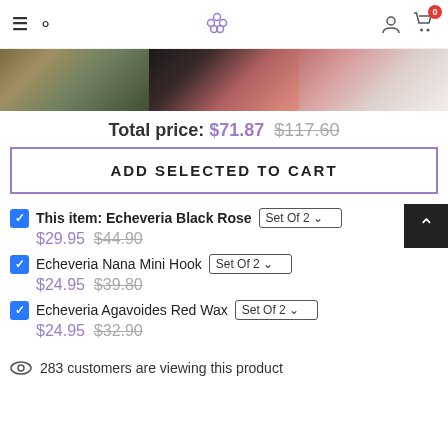Navigation bar with hamburger menu, search, logo, user icon, cart (0)
[Figure (photo): Three product photos of succulents in a horizontal strip]
Total price: $71.87 $117.60
ADD SELECTED TO CART
This item: Echeveria Black Rose | Set Of 2 | $29.95 $44.90
Echeveria Nana Mini Hook | Set Of 2 | $24.95 $39.80
Echeveria Agavoides Red Wax | Set Of 2 | $24.95 $32.90
283 customers are viewing this product